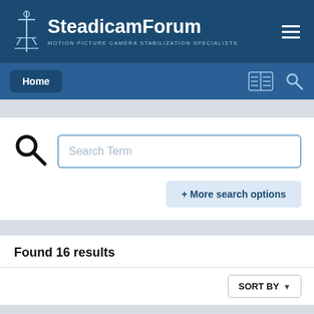SteadicamForum - MOTION PICTURE CAMERA STABILIZATION SPECIALISTS
[Figure (screenshot): SteadicamForum website header with logo and hamburger menu]
Home
Search Term
+ More search options
Found 16 results
SORT BY
[Figure (screenshot): User avatar circle with letter J and chat bubble icon]